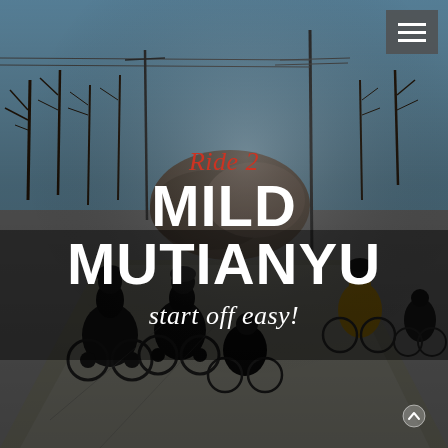[Figure (photo): Cyclists riding on a road through a rural area in winter, bare trees and rocky hills in background, clear blue sky. Multiple riders visible, one in yellow jacket on right. Taken in bright sunlight creating strong shadows on the road.]
Ride 2 MILD MUTIANYU start off easy!